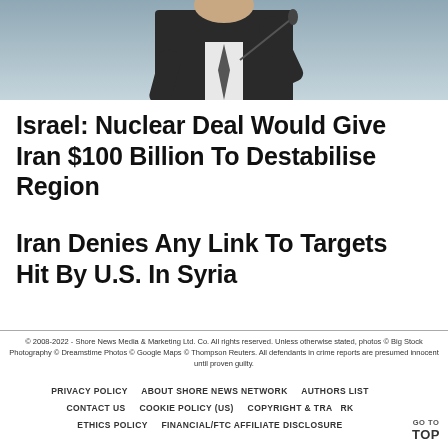[Figure (photo): Partial photo of a man in a dark suit gesturing with microphone visible, cropped to show torso and hands against a light blue-grey background]
Israel: Nuclear Deal Would Give Iran $100 Billion To Destabilise Region
Iran Denies Any Link To Targets Hit By U.S. In Syria
© 2008-2022 - Shore News Media & Marketing Ltd. Co. All rights reserved. Unless otherwise stated, photos © Big Stock Photography © Dreamstime Photos © Google Maps © Thompson Reuters. All defendants in crime reports are presumed innocent until proven guilty.
PRIVACY POLICY    ABOUT SHORE NEWS NETWORK    AUTHORS LIST    CONTACT US    COOKIE POLICY (US)    COPYRIGHT & TRA...RK    ETHICS POLICY    FINANCIAL/FTC AFFILIATE DISCLOSURE    GO TO TOP